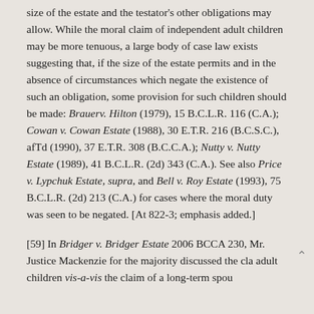size of the estate and the testator's other obligations may allow. While the moral claim of independent adult children may be more tenuous, a large body of case law exists suggesting that, if the size of the estate permits and in the absence of circumstances which negate the existence of such an obligation, some provision for such children should be made: Brauerv. Hilton (1979), 15 B.C.L.R. 116 (C.A.); Cowan v. Cowan Estate (1988), 30 E.T.R. 216 (B.C.S.C.), afTd (1990), 37 E.T.R. 308 (B.C.C.A.); Nutty v. Nutty Estate (1989), 41 B.C.L.R. (2d) 343 (C.A.). See also Price v. Lypchuk Estate, supra, and Bell v. Roy Estate (1993), 75 B.C.L.R. (2d) 213 (C.A.) for cases where the moral duty was seen to be negated. [At 822-3; emphasis added.]
[59] In Bridger v. Bridger Estate 2006 BCCA 230, Mr. Justice Mackenzie for the majority discussed the claim of adult children vis-a-vis the claim of a long-term spou